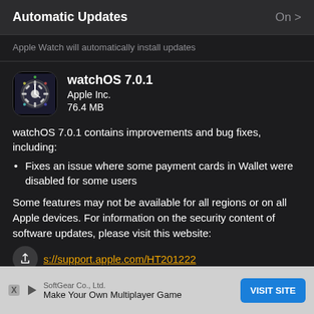Automatic Updates
On >
Apple Watch will automatically install updates
watchOS 7.0.1
Apple Inc.
76.4 MB
watchOS 7.0.1 contains improvements and bug fixes, including:
Fixes an issue where some payment cards in Wallet were disabled for some users
Some features may not be available for all regions or on all Apple devices. For information on the security content of software updates, please visit this website:
s://support.apple.com/HT201222
SoftGear Co., Ltd.
Make Your Own Multiplayer Game
VISIT SITE